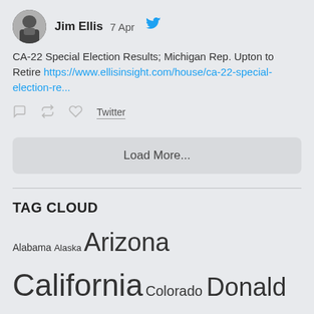[Figure (screenshot): Twitter avatar of Jim Ellis - man in suit photo]
Jim Ellis  7 Apr
CA-22 Special Election Results; Michigan Rep. Upton to Retire https://www.ellisinsight.com/house/ca-22-special-election-re...
Twitter
Load More...
TAG CLOUD
Alabama Alaska Arizona California Colorado Donald Trump Ellis Insight Florida Georgia Hillary Clinton Illinois Indiana Iowa Jim Ellis Joe Biden Louisiana Massachusetts Michigan Minnesota